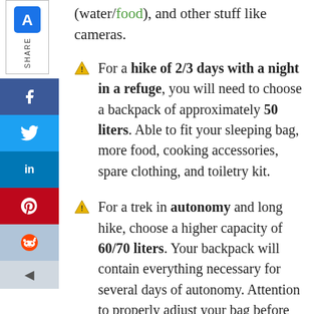(water/food), and other stuff like cameras.
For a hike of 2/3 days with a night in a refuge, you will need to choose a backpack of approximately 50 liters. Able to fit your sleeping bag, more food, cooking accessories, spare clothing, and toiletry kit.
For a trek in autonomy and long hike, choose a higher capacity of 60/70 liters. Your backpack will contain everything necessary for several days of autonomy. Attention to properly adjust your bag before